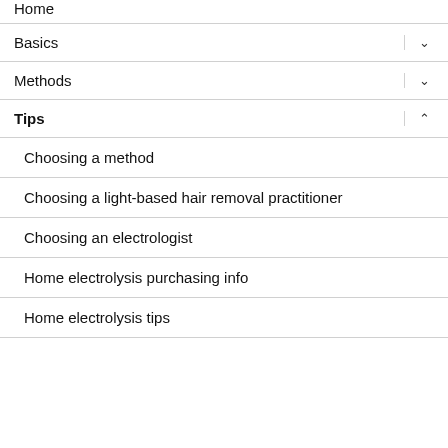Home
Basics
Methods
Tips
Choosing a method
Choosing a light-based hair removal practitioner
Choosing an electrologist
Home electrolysis purchasing info
Home electrolysis tips